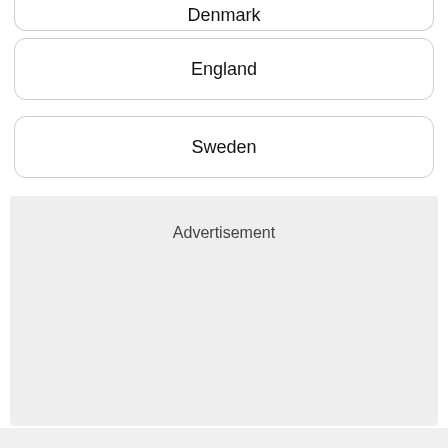Denmark
England
Sweden
Advertisement